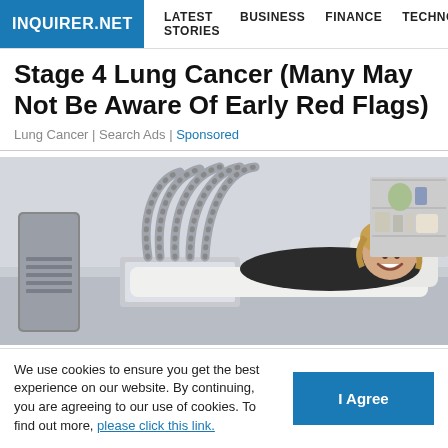INQUIRER.NET | LATEST STORIES | BUSINESS | FINANCE | TECHNOLO
Stage 4 Lung Cancer (Many May Not Be Aware Of Early Red Flags)
Lung Cancer | Search Ads | Sponsored
[Figure (photo): A smiling woman lying in a medical/clinical reclining chair surrounded by multiple grey flexible hoses/tubes from a large medical device. Medical equipment and shelving visible in background.]
We use cookies to ensure you get the best experience on our website. By continuing, you are agreeing to our use of cookies. To find out more, please click this link.